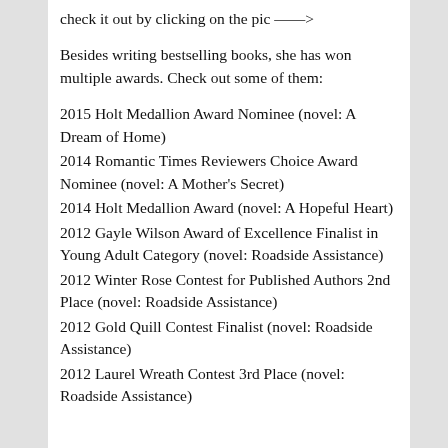check it out by clicking on the pic ——>
Besides writing bestselling books, she has won multiple awards. Check out some of them:
2015 Holt Medallion Award Nominee (novel: A Dream of Home)
2014 Romantic Times Reviewers Choice Award Nominee (novel: A Mother's Secret)
2014 Holt Medallion Award (novel: A Hopeful Heart)
2012 Gayle Wilson Award of Excellence Finalist in Young Adult Category (novel: Roadside Assistance)
2012 Winter Rose Contest for Published Authors 2nd Place (novel: Roadside Assistance)
2012 Gold Quill Contest Finalist (novel: Roadside Assistance)
2012 Laurel Wreath Contest 3rd Place (novel: Roadside Assistance)